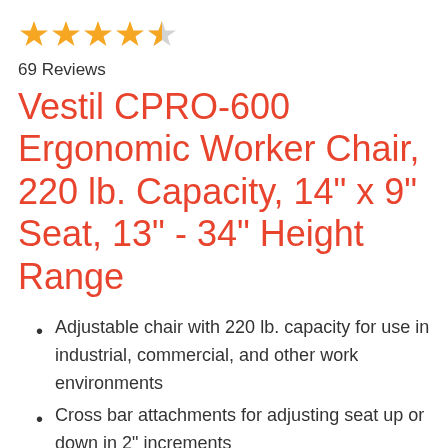[Figure (other): Star rating: 4.5 out of 5 stars (4 full stars and 1 half star)]
69 Reviews
Vestil CPRO-600 Ergonomic Worker Chair, 220 lb. Capacity, 14" x 9" Seat, 13" - 34" Height Range
Adjustable chair with 220 lb. capacity for use in industrial, commercial, and other work environments
Cross bar attachments for adjusting seat up or down in 2" increments